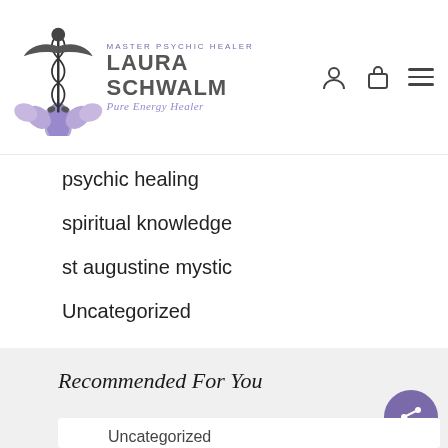MASTER PSYCHIC HEALER LAURA SCHWALM Pure Energy Healer
psychic healing
spiritual knowledge
st augustine mystic
Uncategorized
Recommended For You
Uncategorized